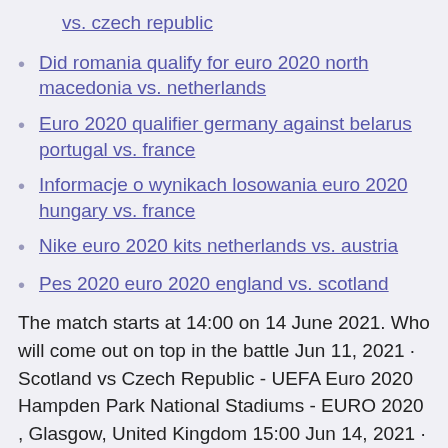vs. czech republic
Did romania qualify for euro 2020 north macedonia vs. netherlands
Euro 2020 qualifier germany against belarus portugal vs. france
Informacje o wynikach losowania euro 2020 hungary vs. france
Nike euro 2020 kits netherlands vs. austria
Pes 2020 euro 2020 england vs. scotland
The match starts at 14:00 on 14 June 2021. Who will come out on top in the battle Jun 11, 2021 · Scotland vs Czech Republic - UEFA Euro 2020 Hampden Park National Stadiums - EURO 2020 , Glasgow, United Kingdom 15:00 Jun 14, 2021 · Czech Republic take on